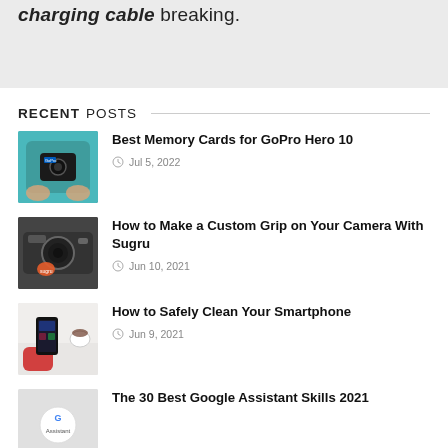charging cable breaking.
RECENT POSTS
Best Memory Cards for GoPro Hero 10 — Jul 5, 2022
How to Make a Custom Grip on Your Camera With Sugru — Jun 10, 2021
How to Safely Clean Your Smartphone — Jun 9, 2021
The 30 Best Google Assistant Skills 2021